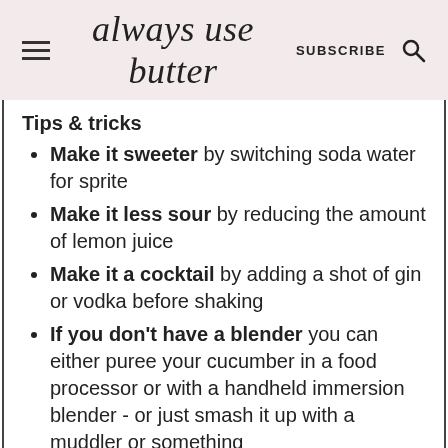always use butter — SUBSCRIBE
Tips & tricks
Make it sweeter by switching soda water for sprite
Make it less sour by reducing the amount of lemon juice
Make it a cocktail by adding a shot of gin or vodka before shaking
If you don't have a blender you can either puree your cucumber in a food processor or with a handheld immersion blender - or just smash it up with a muddler or something else you have on hand
If you don't have a shaker you